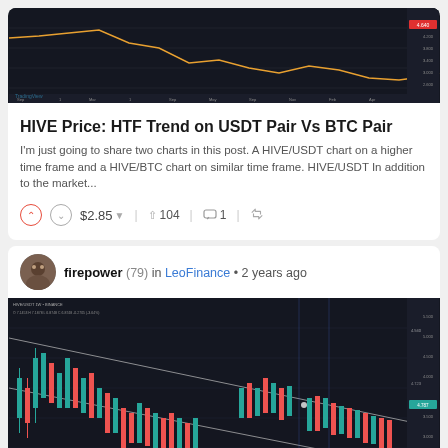[Figure (screenshot): TradingView candlestick chart for HIVE/USDT on dark background showing price trend with red/orange line declining, various time labels on x-axis]
HIVE Price: HTF Trend on USDT Pair Vs BTC Pair
I'm just going to share two charts in this post. A HIVE/USDT chart on a higher time frame and a HIVE/BTC chart on similar time frame. HIVE/USDT In addition to the market...
$2.85 ▾   104   1
firepower (79) in LeoFinance • 2 years ago
[Figure (screenshot): TradingView candlestick chart for HIVE/BTC on dark background showing green and red candlesticks with diagonal channel lines drawn, price trending downward]